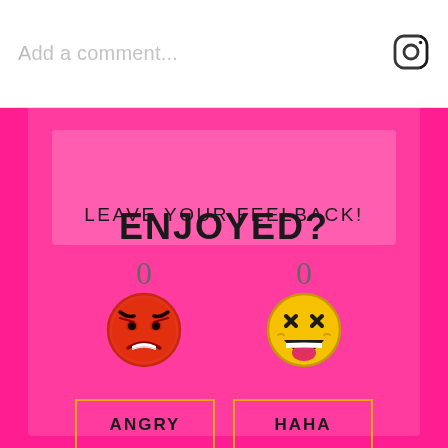Add a comment...
[Figure (logo): Instagram logo icon (camera outline)]
ENJOYED?
LEAVE YOUR FEELBACK!
0
0
[Figure (illustration): Angry face emoji (red face with angry eyebrows and grimace)]
[Figure (illustration): HAHA laughing face emoji (yellow face with X eyes and open laughing mouth)]
ANGRY
HAHA